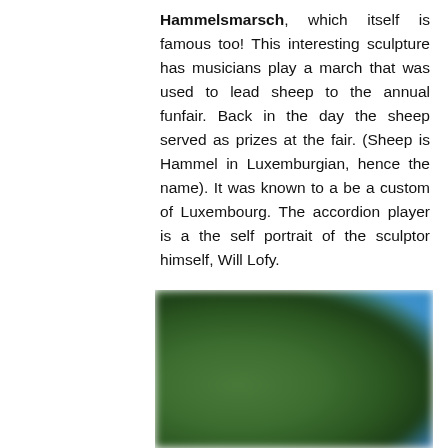Hammelsmarsch, which itself is famous too! This interesting sculpture has musicians play a march that was used to lead sheep to the annual funfair. Back in the day the sheep served as prizes at the fair. (Sheep is Hammel in Luxemburgian, hence the name). It was known to a be a custom of Luxembourg. The accordion player is a the self portrait of the sculptor himself, Will Lofy.
[Figure (photo): A blurred aerial or close-up photograph showing green foliage and blue geometric shapes, possibly a map or garden view.]